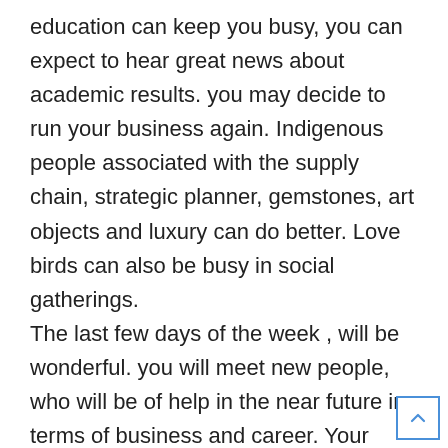education can keep you busy, you can expect to hear great news about academic results. you may decide to run your business again. Indigenous people associated with the supply chain, strategic planner, gemstones, art objects and luxury can do better. Love birds can also be busy in social gatherings.
The last few days of the week , will be wonderful. you will meet new people, who will be of help in the near future in terms of business and career. Your network can help you grow your business. Problems related to property and siblings can be resolved. you may decide to visit a place of worship with the family, seeking religious peace, which can show you new directions for the near future to take a difficult call. you may be able to make a donation to the religious place or to assist the needy. you may enjoy some quality moments with the spouse.